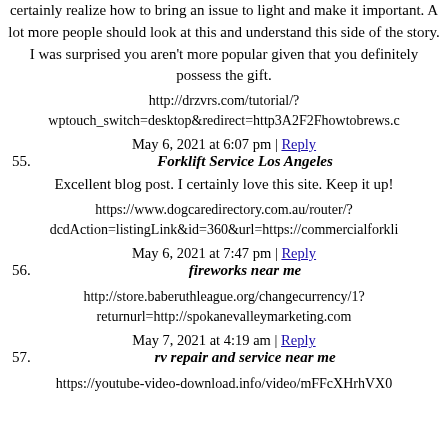certainly realize how to bring an issue to light and make it important. A lot more people should look at this and understand this side of the story. I was surprised you aren't more popular given that you definitely possess the gift.
http://drzvrs.com/tutorial/?wptouch_switch=desktop&redirect=http3A2F2Fhowtobrews.c
May 6, 2021 at 6:07 pm | Reply
55. Forklift Service Los Angeles
Excellent blog post. I certainly love this site. Keep it up!
https://www.dogcaredirectory.com.au/router/?dcdAction=listingLink&id=360&url=https://commercialforkli
May 6, 2021 at 7:47 pm | Reply
56. fireworks near me
http://store.baberuthleague.org/changecurrency/1?returnurl=http://spokanevalleymarketing.com
May 7, 2021 at 4:19 am | Reply
57. rv repair and service near me
https://youtube-video-download.info/video/mFFcXHrhVX0